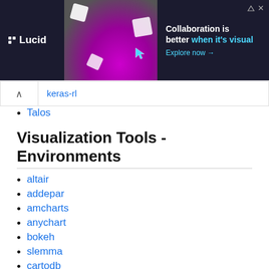[Figure (other): Lucid advertisement banner: 'Collaboration is better when it's visual. Explore now →' with photo of person and floating UI elements on dark background.]
keras-rl
Talos
Visualization Tools - Environments
altair
addepar
amcharts
anychart
bokeh
slemma
cartodb
Cube
d3plus